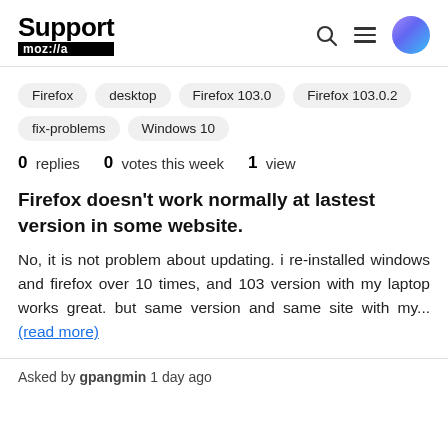Support moz://a
Firefox
desktop
Firefox 103.0
Firefox 103.0.2
fix-problems
Windows 10
0 replies  0 votes this week  1 view
Firefox doesn't work normally at lastest version in some website.
No, it is not problem about updating. i re-installed windows and firefox over 10 times, and 103 version with my laptop works great. but same version and same site with my... (read more)
Asked by gpangmin 1 day ago